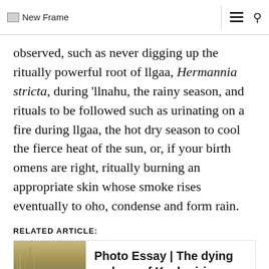New Frame
observed, such as never digging up the ritually powerful root of llgaa, Hermannia stricta, during 'llnahu, the rainy season, and rituals to be followed such as urinating on a fire during llgaa, the hot dry season to cool the fierce heat of the sun, or, if your birth omens are right, ritually burning an appropriate skin whose smoke rises eventually to oho, condense and form rain.
RELATED ARTICLE:
Photo Essay | The dying embers of Kashmiri